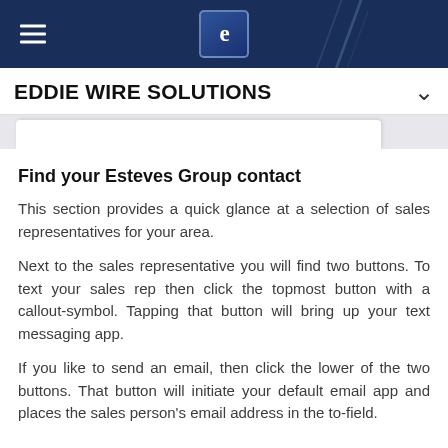EDDIE WIRE SOLUTIONS
Find your Esteves Group contact
This section provides a quick glance at a selection of sales representatives for your area.
Next to the sales representative you will find two buttons. To text your sales rep then click the topmost button with a callout-symbol. Tapping that button will bring up your text messaging app.
If you like to send an email, then click the lower of the two buttons. That button will initiate your default email app and places the sales person's email address in the to-field.